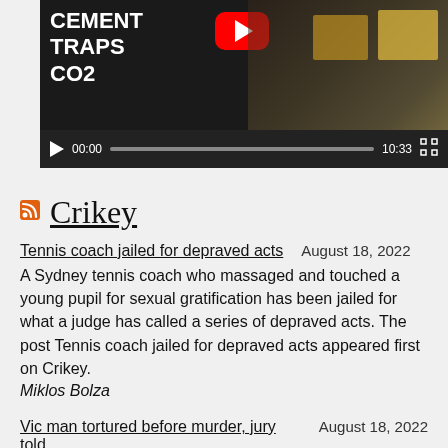[Figure (screenshot): Video player showing a YouTube video thumbnail with text 'CEMENT TRAPS CO2' on a dark background, with a red YouTube play button visible. Controls show 00:00 timestamp and 10:33 duration.]
Crikey
Tennis coach jailed for depraved acts   August 18, 2022
A Sydney tennis coach who massaged and touched a young pupil for sexual gratification has been jailed for what a judge has called a series of depraved acts. The post Tennis coach jailed for depraved acts appeared first on Crikey.
Miklos Bolza
Vic man tortured before murder, jury told   August 18, 2022
Bradley Lyons, 30, was beaten in his bed, locked inside a car boot and then tortured before he was shot dead in